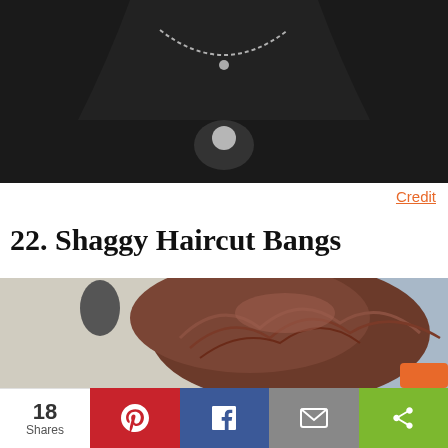[Figure (photo): Top portion of a person wearing a black shirt with a chain necklace, photo cropped at mid-torso.]
Credit
22. Shaggy Haircut Bangs
[Figure (photo): Close-up photo of a person with shaggy brown hair with bangs, taken from above/behind.]
18 Shares